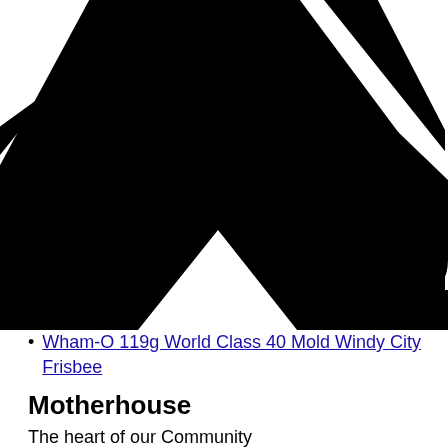[Figure (illustration): A large black chevron/arrow pointing right, partially cropped at the top of the page]
Wham-O 119g World Class 40 Mold Windy City Frisbee
Motherhouse
The heart of our Community